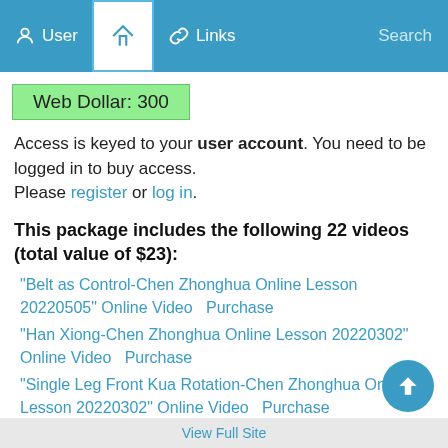User  Home  Links  Search
Web Dollar: 300
Access is keyed to your user account. You need to be logged in to buy access. Please register or log in.
This package includes the following 22 videos (total value of $23):
"Belt as Control-Chen Zhonghua Online Lesson 20220505" Online Video   Purchase
"Han Xiong-Chen Zhonghua Online Lesson 20220302" Online Video   Purchase
"Single Leg Front Kua Rotation-Chen Zhonghua Online Lesson 20220302" Online Video   Purchase
"Tension-Chen Zhonghua Online Lesson 20220302" Online Video   Purchase
View Full Site